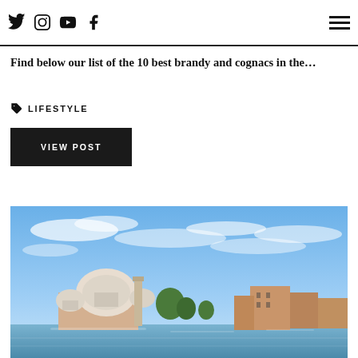Social icons: Twitter, Instagram, YouTube, Facebook; Hamburger menu
Find below our list of the 10 best brandy and cognacs in the…
LIFESTYLE
VIEW POST
[Figure (photo): Aerial view of Venice canal with domed basilica and terracotta-roofed buildings under a blue sky with wispy clouds]